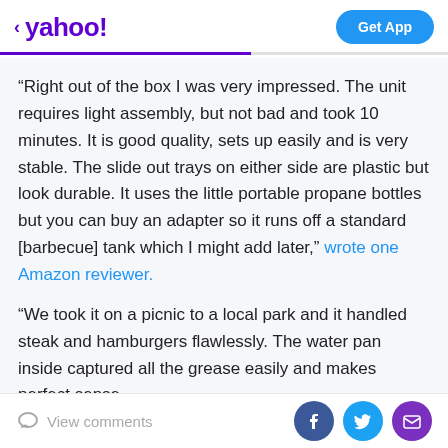< yahoo!   Get App
“Right out of the box I was very impressed. The unit requires light assembly, but not bad and took 10 minutes. It is good quality, sets up easily and is very stable. The slide out trays on either side are plastic but look durable. It uses the little portable propane bottles but you can buy an adapter so it runs off a standard [barbecue] tank which I might add later,” wrote one Amazon reviewer.
“We took it on a picnic to a local park and it handled steak and hamburgers flawlessly. The water pan inside captured all the grease easily and makes perfect sense
View comments